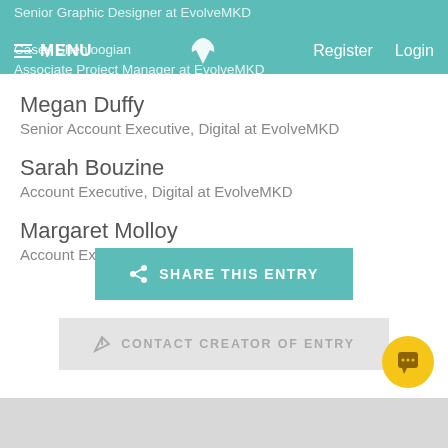Senior Graphic Designer at EvolveMKD
Casey Shenloogian
Associate Project Manager at EvolveMKD
≡ MENU  [logo]  Register  Login
Megan Duffy
Senior Account Executive, Digital at EvolveMKD
Sarah Bouzine
Account Executive, Digital at EvolveMKD
Margaret Molloy
Account Executive at EvolveMKD
SHARE THIS ENTRY
CONTACT CREATOR OF ENTRY